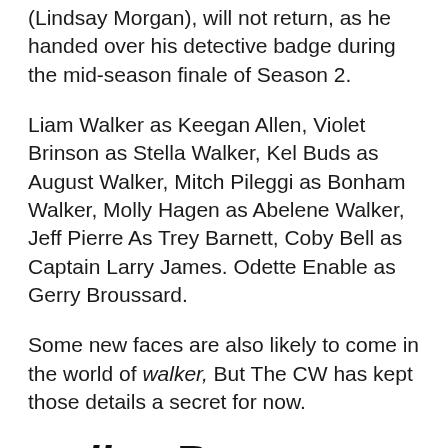(Lindsay Morgan), will not return, as he handed over his detective badge during the mid-season finale of Season 2.
Liam Walker as Keegan Allen, Violet Brinson as Stella Walker, Kel Buds as August Walker, Mitch Pileggi as Bonham Walker, Molly Hagen as Abelene Walker, Jeff Pierre As Trey Barnett, Coby Bell as Captain Larry James. Odette Enable as Gerry Broussard.
Some new faces are also likely to come in the world of walker, But The CW has kept those details a secret for now.
walker By-product
There is more good news for fans walker,